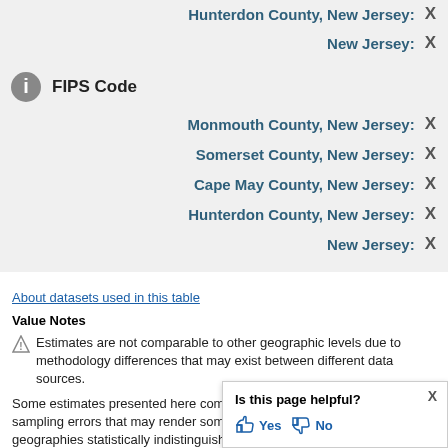Hunterdon County, New Jersey: X
New Jersey: X
FIPS Code
Monmouth County, New Jersey: X
Somerset County, New Jersey: X
Cape May County, New Jersey: X
Hunterdon County, New Jersey: X
New Jersey: X
About datasets used in this table
Value Notes
Estimates are not comparable to other geographic levels due to methodology differences that may exist between different data sources.
Some estimates presented here come from sample data, and thus have sampling errors that may render some apparent differences between geographies statistically indistinguishable. Click the left of each row in TABLE view to learn about samp
Is this page helpful? Yes No